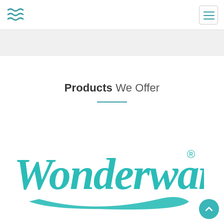[Figure (logo): Three wavy teal lines forming a stylized water/wave logo in the top left corner of the navigation bar]
[Figure (other): Hamburger menu icon: three horizontal teal lines inside a rounded rectangle border, top right of nav bar]
Products We Offer
[Figure (logo): Wonderware brand logo in teal cursive script with registered trademark symbol, partially visible at the bottom of the page]